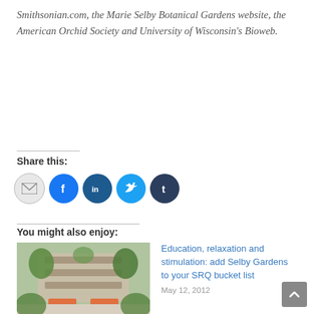Smithsonian.com, the Marie Selby Botanical Gardens website, the American Orchid Society and University of Wisconsin's Bioweb.
Share this:
[Figure (infographic): Social share icons: email (grey circle), Facebook (blue circle with f), LinkedIn (dark blue circle with in), Twitter (light blue circle with bird), Tumblr (dark navy circle with t)]
You might also enjoy:
[Figure (photo): Indoor botanical garden scene with green plants, orange benches, and stone wall in background]
Selby Gardens embraces 'endless forms' in annual orchid show
October 25, 2018
Education, relaxation and stimulation: add Selby Gardens to your SRQ bucket list
May 12, 2012